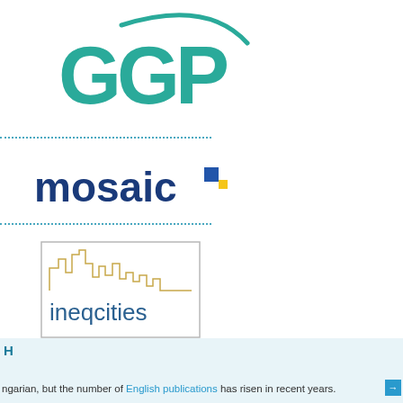[Figure (logo): GGP logo with large teal letters G, G, P and a sweeping teal arc/swoosh]
[Figure (logo): mosaic logo in dark blue lowercase letters with a small blue and yellow square icon]
[Figure (logo): ineqcities logo in a bordered box with a skyline silhouette in gold and blue text]
H
ngarian, but the number of English publications has risen in recent years.